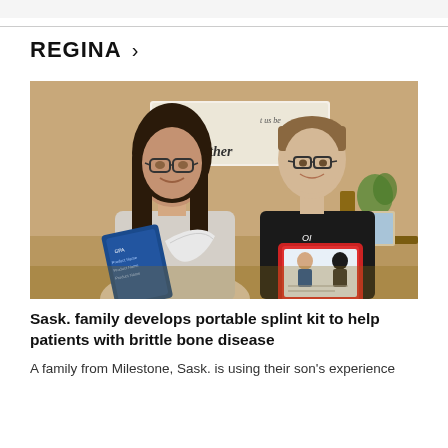REGINA >
[Figure (photo): A woman and a teenage boy sitting together, both holding medical supplies. The woman holds a blue-labeled package and white splint material. The boy wears a black 'OI Strong' t-shirt and holds a red-bordered kit with illustrated content. A decorative sign reading 'let us be together' is visible in the background.]
Sask. family develops portable splint kit to help patients with brittle bone disease
A family from Milestone, Sask. is using their son's experience